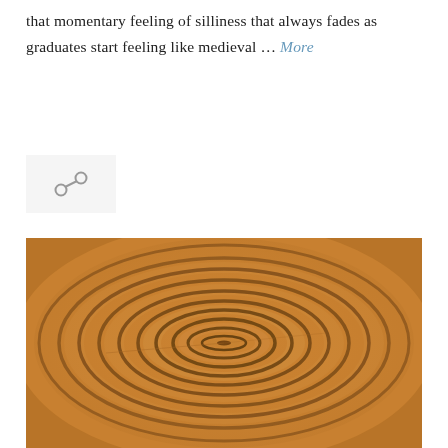that momentary feeling of silliness that always fades as graduates start feeling like medieval … More
[Figure (other): Share/link icon button in a light grey box]
[Figure (photo): Close-up cross-section of a tree trunk showing concentric growth rings in warm brown tones]